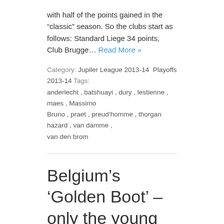with half of the points gained in the “classic” season. So the clubs start as follows: Standard Liege 34 points, Club Brugge… Read More »
Category: Jupiler League 2013-14  Playoffs 2013-14  Tags: anderlecht , batshuayi , dury , lestienne , maes , Massimo Bruno , praet , preud’homme , thorgan hazard , van damme , van den brom
Belgium’s ‘Golden Boot’ – only the young need apply
It’s Golden Boot/Soulier d’Or/Gouden Schoen time tonight. A comparison between